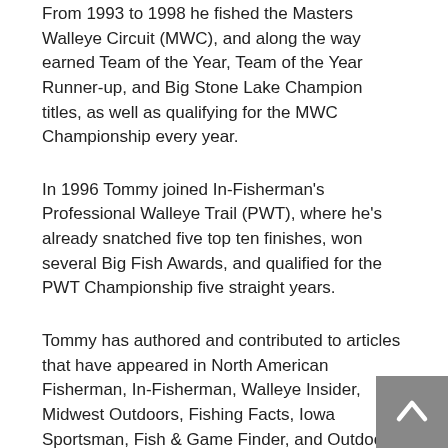From 1993 to 1998 he fished the Masters Walleye Circuit (MWC), and along the way earned Team of the Year, Team of the Year Runner-up, and Big Stone Lake Champion titles, as well as qualifying for the MWC Championship every year.
In 1996 Tommy joined In-Fisherman's Professional Walleye Trail (PWT), where he's already snatched five top ten finishes, won several Big Fish Awards, and qualified for the PWT Championship five straight years.
Tommy has authored and contributed to articles that have appeared in North American Fisherman, In-Fisherman, Walleye Insider, Midwest Outdoors, Fishing Facts, Iowa Sportsman, Fish & Game Finder, and Outdoor News. As well, his fishing expertise has been tapped by the Chicago Tribune, Chicago Sun Times, Chicago Daily Herald, Des Moines Register,
[Figure (other): Back-to-top navigation button with upward-pointing chevron arrow on grey background, positioned in bottom-right corner]